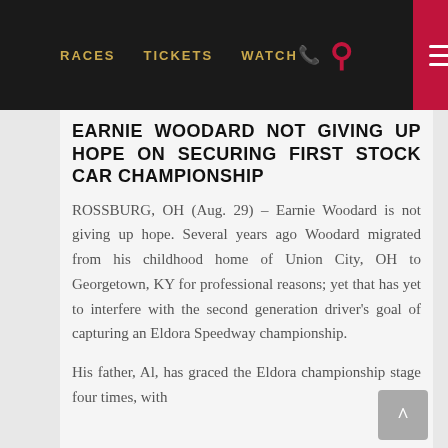RACES  TICKETS  WATCH
EARNIE WOODARD NOT GIVING UP HOPE ON SECURING FIRST STOCK CAR CHAMPIONSHIP
ROSSBURG, OH (Aug. 29) – Earnie Woodard is not giving up hope. Several years ago Woodard migrated from his childhood home of Union City, OH to Georgetown, KY for professional reasons; yet that has yet to interfere with the second generation driver's goal of capturing an Eldora Speedway championship.
His father, Al, has graced the Eldora championship stage four times, with